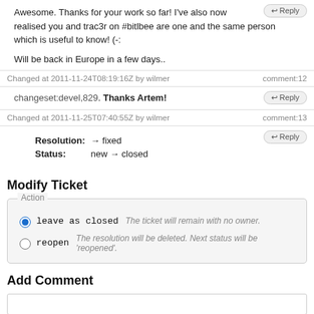Awesome. Thanks for your work so far! I've also now realised you and trac3r on #bitlbee are one and the same person which is useful to know! (-:

Will be back in Europe in a few days..
Changed at 2011-11-24T08:19:16Z by wilmer	comment:12
changeset:devel,829. Thanks Artem!
Changed at 2011-11-25T07:40:55Z by wilmer	comment:13
Resolution: → fixed
Status: new → closed
Modify Ticket
Action
leave as closed – The ticket will remain with no owner.
reopen – The resolution will be deleted. Next status will be 'reopened'.
Add Comment